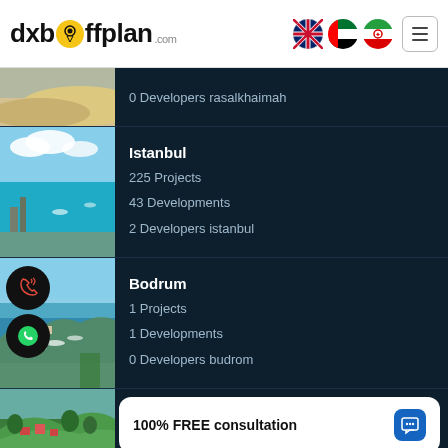dxboffplan.com
0 Developers rasalkhaimah
Istanbul
225 Projects
43 Developments
2 Developers istanbul
Bodrum
1 Projects
1 Developments
0 Developers budrom
100% FREE consultation